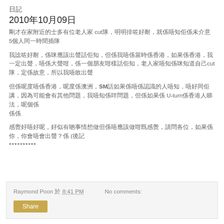日記
2010年10月09日
剛才在家附近的士多有位老人家 cut隊，明明排咗好耐，就係唔知佢係未介意 5個人同一時間插隊
我諗咗好耐，係咪應該出聲話佢知，但係我唔係當時係香港，如果係香港，我一定出聲，唔係大聲咁，係一個朋友咁樣話佢知，老人家唔知
但係呢度唔係香港，呢度係澳洲，SM話如果係唔係認識的人唔知，唔好同佢講，因為可能會有其他問題，我唔知係咩問題，但係如果係 U-turn係香港人睇法，呢個係
感覺好唔好呢，好似有啲事情想做但係唔應該做咁既感覺，請問各位，如果係你，你會唔會出聲？係 (後記
**********